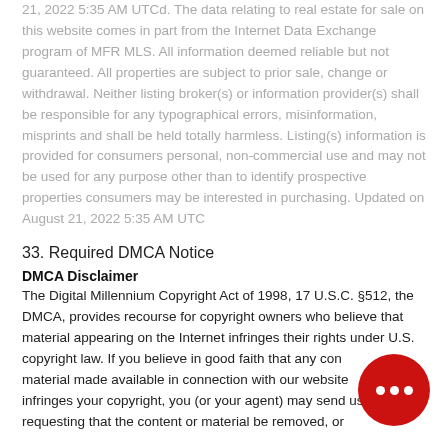21, 2022 5:35 AM UTCd. The data relating to real estate for sale on this website comes in part from the Internet Data Exchange program of MFR MLS. All information deemed reliable but not guaranteed. All properties are subject to prior sale, change or withdrawal. Neither listing broker(s) or information provider(s) shall be responsible for any typographical errors, misinformation, misprints and shall be held totally harmless. Listing(s) information is provided for consumers personal, non-commercial use and may not be used for any purpose other than to identify prospective properties consumers may be interested in purchasing. Updated on August 21, 2022 5:35 AM UTC
33. Required DMCA Notice
DMCA Disclaimer
The Digital Millennium Copyright Act of 1998, 17 U.S.C. §512, the DMCA, provides recourse for copyright owners who believe that material appearing on the Internet infringes their rights under U.S. copyright law. If you believe in good faith that any content or material made available in connection with our website or services infringes your copyright, you (or your agent) may send us a notice requesting that the content or material be removed, or